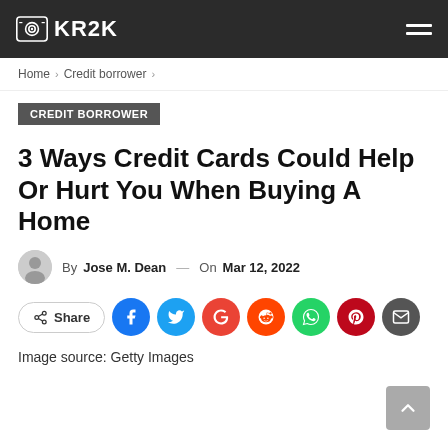KR2K
Home > Credit borrower >
CREDIT BORROWER
3 Ways Credit Cards Could Help Or Hurt You When Buying A Home
By Jose M. Dean — On Mar 12, 2022
Share
Image source: Getty Images